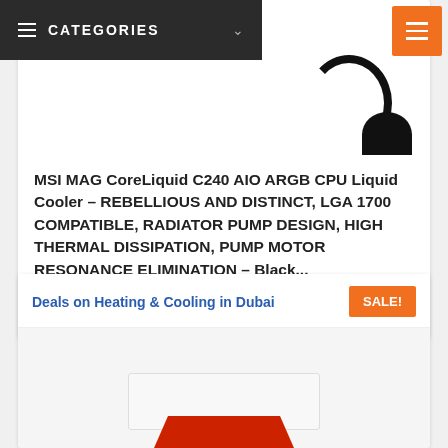CATEGORIES
MSI MAG CoreLiquid C240 AIO ARGB CPU Liquid Cooler – REBELLIOUS AND DISTINCT, LGA 1700 COMPATIBLE, RADIATOR PUMP DESIGN, HIGH THERMAL DISSIPATION, PUMP MOTOR RESONANCE ELIMINATION – Black...
AED495  AED463
Deals on Heating & Cooling in Dubai
[Figure (photo): Partial product image of MSI MAG CoreLiquid CPU cooler]
[Figure (photo): Heating & Cooling product image, white box with red element]